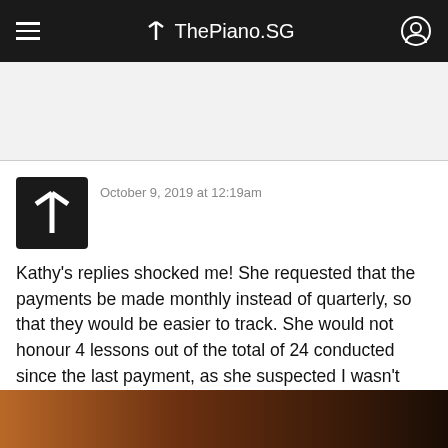ThePiano.SG
October 9, 2019 at 12:19am
Kathy's replies shocked me! She requested that the payments be made monthly instead of quarterly, so that they would be easier to track. She would not honour 4 lessons out of the total of 24 conducted since the last payment, as she suspected I wasn't here for these lessons. The last reply really hit me straight in the face: "I didn't check the earlier months. I trusted you, you know. Now I check this month, and it's like this!"
... See More
[Figure (photo): Partial photo visible at the bottom of the post, dark brownish tones]